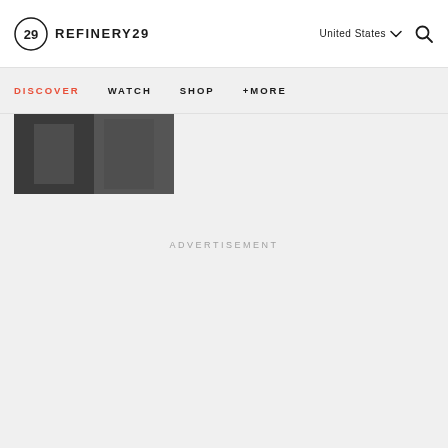REFINERY29
United States
DISCOVER  WATCH  SHOP  +MORE
[Figure (photo): Partial image visible at top left of content area, appears to show people in dark tones]
ADVERTISEMENT